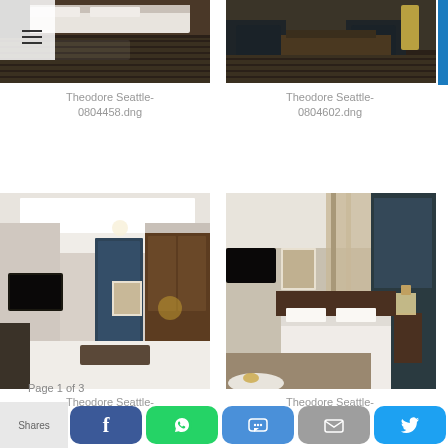[Figure (photo): Hotel room photo - Theodore Seattle showing bed and dark striped carpet, partially cropped, top left]
Theodore Seattle-0804458.dng
[Figure (photo): Hotel room photo - Theodore Seattle showing chairs and table with striped carpet, partially cropped, top right]
Theodore Seattle-0804602.dng
[Figure (photo): Hotel room interior - Theodore Seattle showing TV on wall, blue door, wooden wardrobe, white bed in foreground]
Theodore Seattle-0804103.tif
[Figure (photo): Hotel room interior - Theodore Seattle showing TV, bed with white linens, framed art, curtains and dark wall panels]
Theodore Seattle-0804262.tif
Page 1 of 3